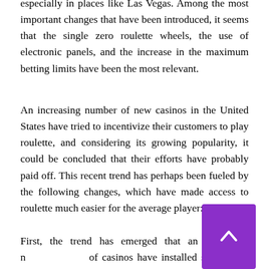especially in places like Las Vegas. Among the most important changes that have been introduced, it seems that the single zero roulette wheels, the use of electronic panels, and the increase in the maximum betting limits have been the most relevant.
An increasing number of new casinos in the United States have tried to incentivize their customers to play roulette, and considering its growing popularity, it could be concluded that their efforts have probably paid off. This recent trend has perhaps been fueled by the following changes, which have made access to roulette much easier for the average player:
First, the trend has emerged that an increasing number of casinos have installed single zero wheels. In 1996, when